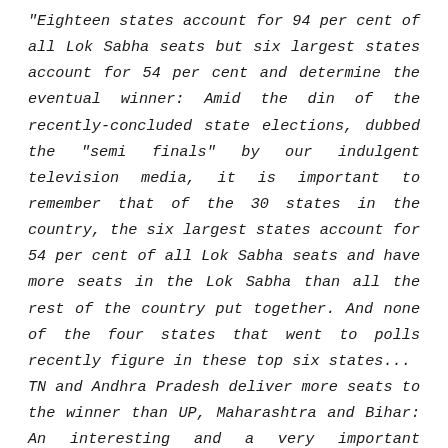"Eighteen states account for 94 per cent of all Lok Sabha seats but six largest states account for 54 per cent and determine the eventual winner: Amid the din of the recently-concluded state elections, dubbed the "semi finals" by our indulgent television media, it is important to remember that of the 30 states in the country, the six largest states account for 54 per cent of all Lok Sabha seats and have more seats in the Lok Sabha than all the rest of the country put together. And none of the four states that went to polls recently figure in these top six states... TN and Andhra Pradesh deliver more seats to the winner than UP, Maharashtra and Bihar: An interesting and a very important observation from table I is that, of the six largest states, TN and Andhra Pradesh deliver the maximum number of